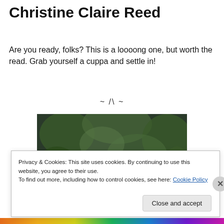Christine Claire Reed
Are you ready, folks? This is a loooong one, but worth the read. Grab yourself a cuppa and settle in!
~ /\ ~
[Figure (photo): Person bending forward outdoors with green foliage background, wearing a blue top and pink clothing visible at bottom.]
Privacy & Cookies: This site uses cookies. By continuing to use this website, you agree to their use.
To find out more, including how to control cookies, see here: Cookie Policy
Close and accept